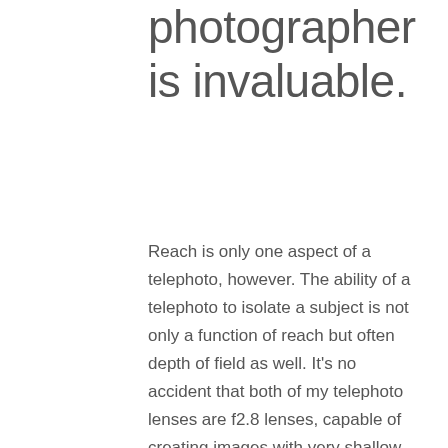photographer is invaluable.
Reach is only one aspect of a telephoto, however. The ability of a telephoto to isolate a subject is not only a function of reach but often depth of field as well. It's no accident that both of my telephoto lenses are f2.8 lenses, capable of creating images with very shallow depth of field. Picking out a single dancer at a Cinco de Mayo celebration has more impact if the surrounding area is softened with very